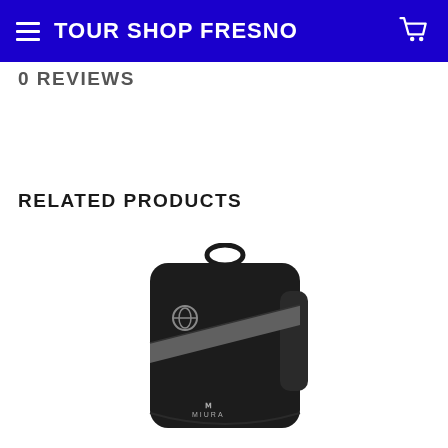TOUR SHOP FRESNO
0 REVIEWS
RELATED PRODUCTS
[Figure (photo): Black Miura golf travel bag / backpack with gray diagonal stripe and Miura logo at bottom, shown against white background]